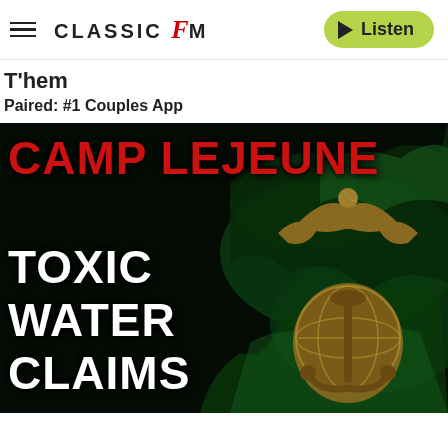CLASSIC FM | Listen
T'hem
Paired: #1 Couples App
[Figure (infographic): Camp Lejeune Toxic Water Claims advertisement banner with red distressed text reading CAMP LEJEUNE on a black background, white bold text reading TOXIC WATER CLAIMS, and a gold US Marine Corps Eagle Globe and Anchor emblem with green water splash graphic on the right side.]